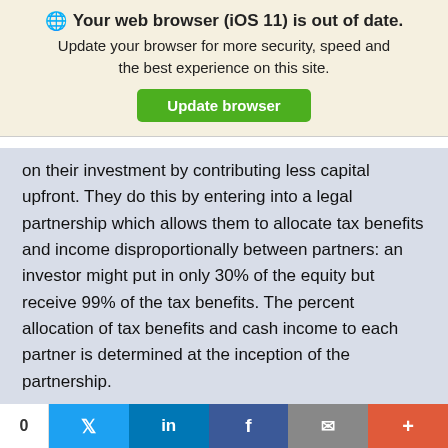Your web browser (iOS 11) is out of date.
Update your browser for more security, speed and the best experience on this site.
Update browser
on their investment by contributing less capital upfront. They do this by entering into a legal partnership which allows them to allocate tax benefits and income disproportionally between partners: an investor might put in only 30% of the equity but receive 99% of the tax benefits. The percent allocation of tax benefits and cash income to each partner is determined at the inception of the partnership.
This percent allocation may change through the life of the project. As a consequence, at any time...